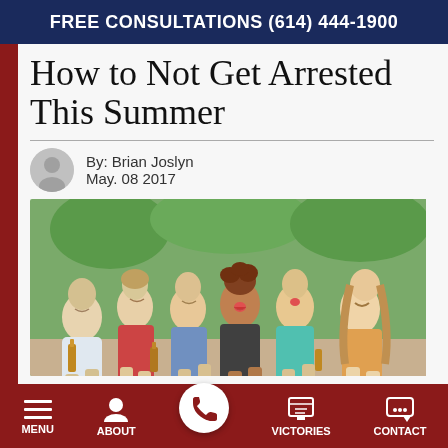FREE CONSULTATIONS (614) 444-1900
How to Not Get Arrested This Summer
By: Brian Joslyn
May. 08 2017
[Figure (photo): Group of young adults laughing and holding beer bottles outdoors]
MENU  ABOUT  VICTORIES  CONTACT